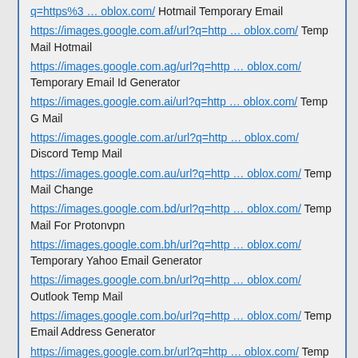q=https%3 … oblox.com/ Hotmail Temporary Email
https://images.google.com.af/url?q=http … oblox.com/ Temp Mail Hotmail
https://images.google.com.ag/url?q=http … oblox.com/ Temporary Email Id Generator
https://images.google.com.ai/url?q=http … oblox.com/ Temp G Mail
https://images.google.com.ar/url?q=http … oblox.com/ Discord Temp Mail
https://images.google.com.au/url?q=http … oblox.com/ Temp Mail Change
https://images.google.com.bd/url?q=http … oblox.com/ Temp Mail For Protonvpn
https://images.google.com.bh/url?q=http … oblox.com/ Temporary Yahoo Email Generator
https://images.google.com.bn/url?q=http … oblox.com/ Outlook Temp Mail
https://images.google.com.bo/url?q=http … oblox.com/ Temp Email Address Generator
https://images.google.com.br/url?q=http … oblox.com/ Temp Mail Create
https://images.google.com.by/url?q=http … oblox.com/ Temp Mail Custom
https://images.google.com.bz/url?q=http … oblox.com/ Tempmail Email